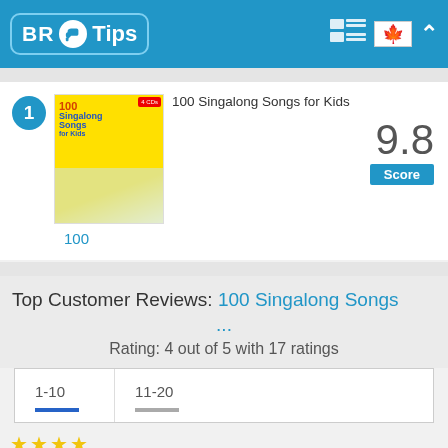BR Tips
[Figure (screenshot): Product listing showing '100 Singalong Songs for Kids' album cover with rank badge 1 and score 9.8]
100 Singalong Songs for Kids
9.8 Score
100
Top Customer Reviews: 100 Singalong Songs ...
Rating: 4 out of 5 with 17 ratings
1-10   11-20